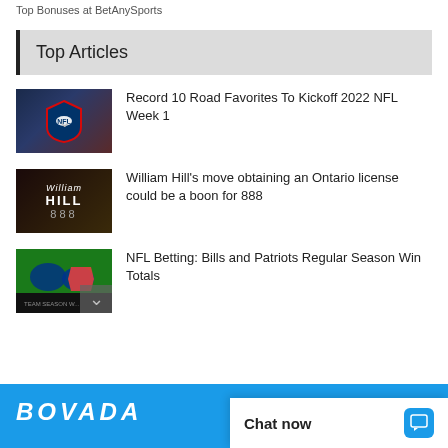Top Bonuses at BetAnySports
Top Articles
Record 10 Road Favorites To Kickoff 2022 NFL Week 1
William Hill's move obtaining an Ontario license could be a boon for 888
NFL Betting: Bills and Patriots Regular Season Win Totals
[Figure (screenshot): Blue banner advertisement at bottom of page]
Chat now